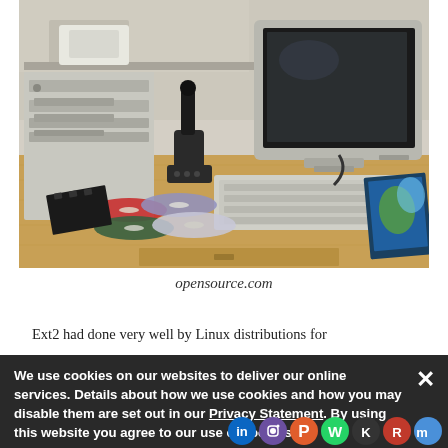[Figure (photo): A wooden desk with an old CRT monitor, keyboard, joystick, CD-ROM drive tower, several CDs and DVDs scattered on the desk surface, and what appears to be an old book or tablet on the right side.]
opensource.com
Ext2 had done very well by Linux distributions for the most part, but like FAT, FAT32, and other filesystems of the time, it was prone to lose power while
We use cookies on our websites to deliver our online services. Details about how we use cookies and how you may disable them are set out in our Privacy Statement. By using this website you agree to our use of cookies.